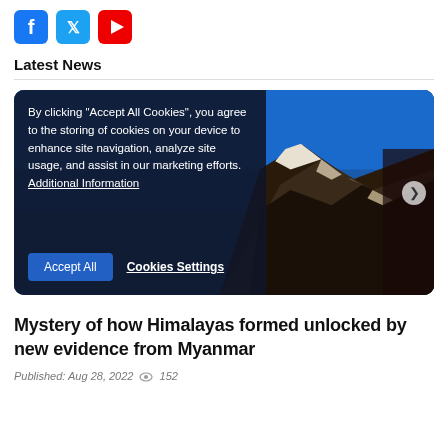[Figure (logo): Facebook, Twitter, YouTube social media icons in blue, light blue, and red rounded squares]
Latest News
[Figure (photo): Mountain photo (Himalayan peak with snow and blue sky) with a cookie consent overlay popup showing 'By clicking Accept All Cookies, you agree to the storing of cookies on your device to enhance site navigation, analyze site usage, and assist in our marketing efforts. Additional Information' with Accept All and Cookies Settings buttons]
Mystery of how Himalayas formed unlocked by new evidence from Myanmar
Published: Aug 28, 2022  152